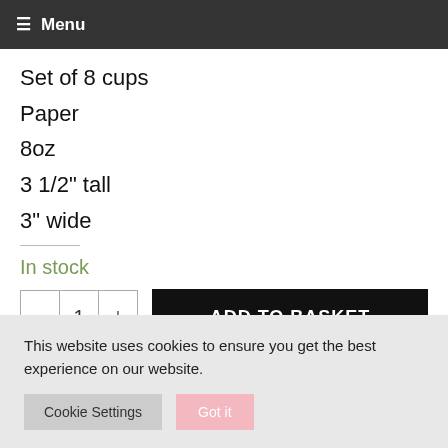≡ Menu
Set of 8 cups
Paper
8oz
3 1/2" tall
3" wide
In stock
- 1 + ADD TO BASKET
This website uses cookies to ensure you get the best experience on our website.
Cookie Settings  Got it